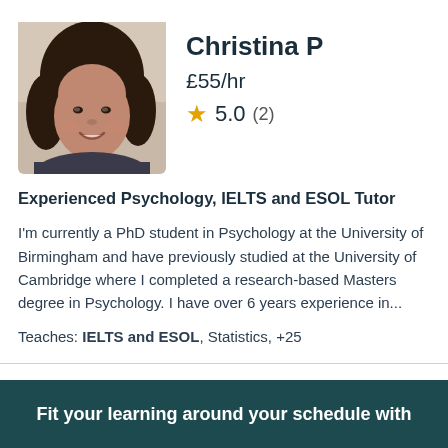[Figure (photo): Headshot photo of Christina P, a woman with curly dark hair, smiling]
Christina P
£55/hr
★ 5.0 (2)
Experienced Psychology, IELTS and ESOL Tutor
I'm currently a PhD student in Psychology at the University of Birmingham and have previously studied at the University of Cambridge where I completed a research-based Masters degree in Psychology. I have over 6 years experience in...
Teaches: IELTS and ESOL, Statistics, +25
Fit your learning around your schedule with